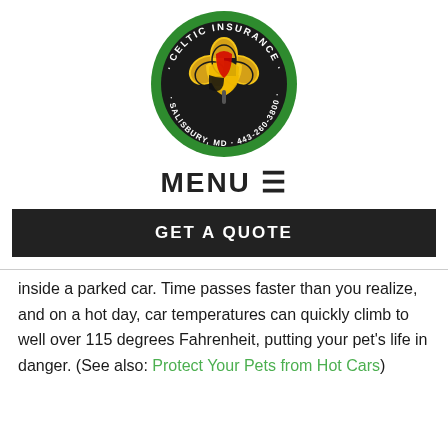[Figure (logo): Celtic Insurance circular logo with green border, shamrock with Maryland state flag design, text reading CELTIC INSURANCE, SALISBURY, MD · 443-260-3800]
MENU ☰
GET A QUOTE
inside a parked car. Time passes faster than you realize, and on a hot day, car temperatures can quickly climb to well over 115 degrees Fahrenheit, putting your pet's life in danger. (See also: Protect Your Pets from Hot Cars)